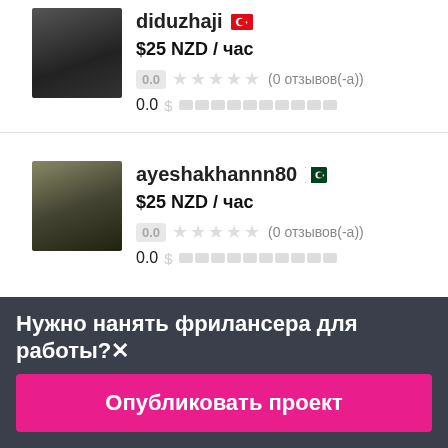[Figure (photo): Avatar of user diduzhaji (female profile photo)]
diduzhaji 🇹🇷
$25 NZD / час
0.0 ★★★★★ (0 отзывов(-а))
0.0 $▬▬▬▬▬▬▬▬▬▬
[Figure (photo): Avatar of user ayeshakhannn80 (female profile photo)]
ayeshakhannn80 🇵🇰
$25 NZD / час
0.0 ★★★★★ (0 отзывов(-а))
0.0 $▬▬▬▬▬▬▬▬▬▬
Нужно нанять фрилансера для работы?✕
Опубликовать проект